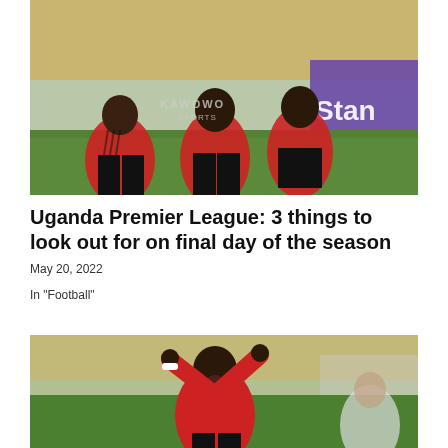[Figure (photo): Three football players in red and black jerseys kneeling on grass, celebrating after a match. A sponsor board reading 'Stan' is visible in the background. Watermark reads 'KAWOWO SPORTS'.]
Uganda Premier League: 3 things to look out for on final day of the season
May 20, 2022
In "Football"
[Figure (photo): A football player in a red jersey celebrating with arms raised, mouth open, appearing to shout in celebration. Stadium background visible.]